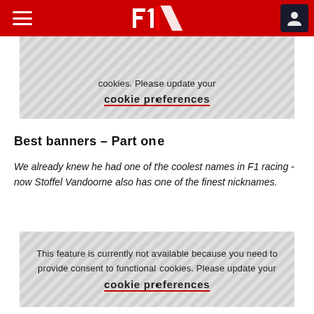F1 header navigation
cookies. Please update your cookie preferences
Best banners – Part one
We already knew he had one of the coolest names in F1 racing - now Stoffel Vandoorne also has one of the finest nicknames.
This feature is currently not available because you need to provide consent to functional cookies. Please update your cookie preferences